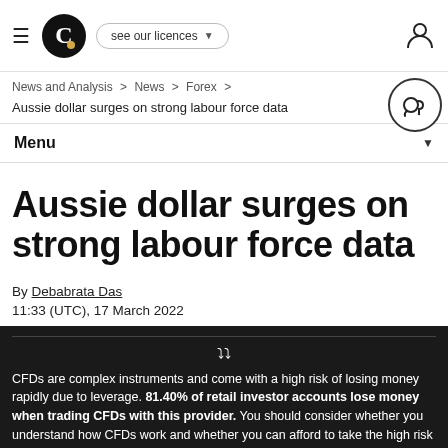Capital.com — see our licences
News and Analysis > News > Forex >
Aussie dollar surges on strong labour force data
Menu
Aussie dollar surges on strong labour force data
By Debabrata Das
11:33 (UTC), 17 March 2022
CFDs are complex instruments and come with a high risk of losing money rapidly due to leverage. 81.40% of retail investor accounts lose money when trading CFDs with this provider. You should consider whether you understand how CFDs work and whether you can afford to take the high risk of losing your money.
By using the Capital.com website you agree to the use of cookies.